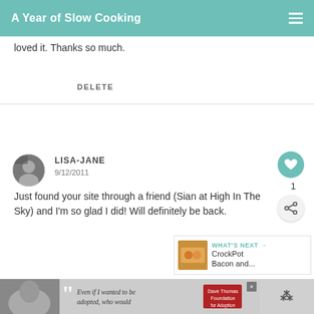A Year of Slow Cooking
loved it. Thanks so much.
DELETE
LISA-JANE
9/12/2011
Just found your site through a friend (Sian at High In The Sky) and I'm so glad I did! Will definitely be back.
WHAT'S NEXT → CrockPot Bacon and...
DELETE
[Figure (photo): Advertisement banner with a person, quote text 'Even if I wanted to be adopted, who would' and Dave Thomas Foundation for Adoption logo]